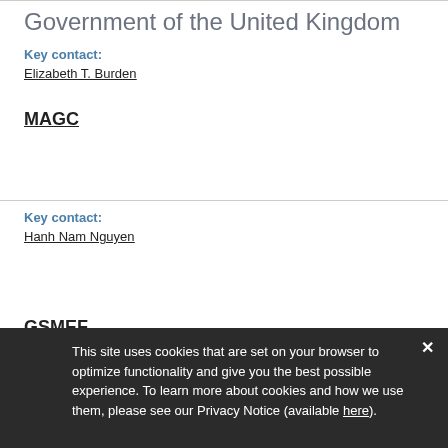Government of the United Kingdom
Key contact:
Elizabeth T. Burden
MAGC
Key contact:
Hanh Nam Nguyen
GSMEF
We
Key contact:
Hanh Nam Nguyen
IFC-We-FI
This site uses cookies that are set on your browser to optimize functionality and give you the best possible experience. To learn more about cookies and how we use them, please see our Privacy Notice (available here).